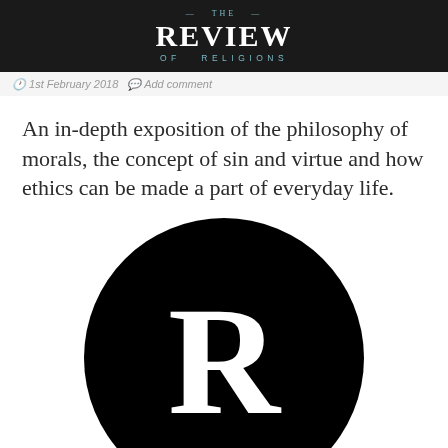THE REVIEW OF RELIGIONS
1st February 2018  Add comment
An in-depth exposition of the philosophy of morals, the concept of sin and virtue and how ethics can be made a part of everyday life.
[Figure (logo): Large black circle with white letter R in the center — the Review of Religions logo]